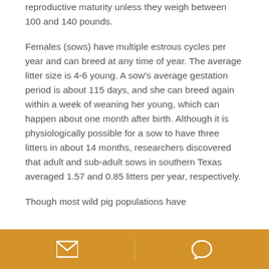reproductive maturity unless they weigh between 100 and 140 pounds.
Females (sows) have multiple estrous cycles per year and can breed at any time of year. The average litter size is 4-6 young. A sow’s average gestation period is about 115 days, and she can breed again within a week of weaning her young, which can happen about one month after birth. Although it is physiologically possible for a sow to have three litters in about 14 months, researchers discovered that adult and sub-adult sows in southern Texas averaged 1.57 and 0.85 litters per year, respectively.
Though most wild pig populations have
[Figure (other): Golden/amber colored footer bar with two icon buttons: an envelope (email) icon on the left half and a speech bubble (chat) icon on the right half, separated by a divider.]